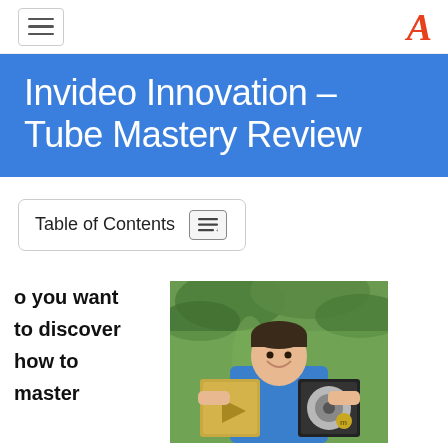Navigation bar with hamburger menu and logo
Invideo Innovation – Tube Mastery Review
Table of Contents
o you want to discover how to master
[Figure (photo): Young man smiling, holding a YouTube silver play button award and a gold/platinum record, standing outdoors in front of palm trees]